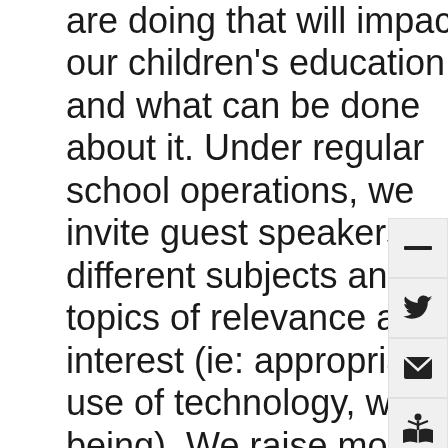are doing that will impact our children's education, and what can be done about it. Under regular school operations, we invite guest speakers on different subjects and topics of relevance and interest (ie: appropriate use of technology, well-being). We raise money for extra school activities, library books, sports equipment and science projects. And in the process we get to know each other
[Figure (other): Social sharing/action sidebar with four icon buttons: minus/collapse button, Twitter bird icon, email envelope icon, and an open book icon]